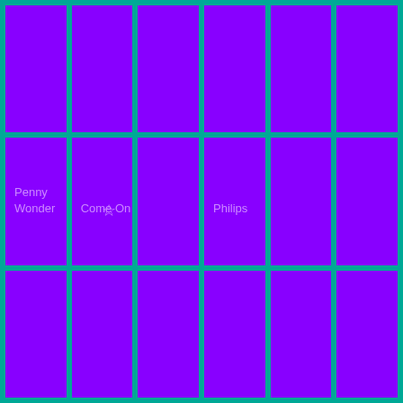[Figure (other): A 6x3 grid of purple tiles on a teal background. The middle row contains text labels: 'Penny Wonder' in the first cell, 'Come On' with a star icon in the second cell, and 'Philips' in the fourth cell.]